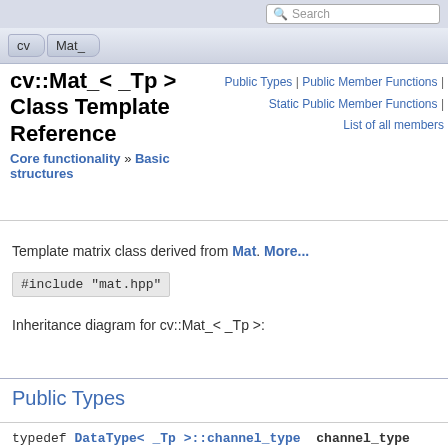Search
cv | Mat_
cv::Mat_< _Tp > Class Template Reference
Public Types | Public Member Functions | Static Public Member Functions | List of all members
Core functionality » Basic structures
Template matrix class derived from Mat. More...
#include "mat.hpp"
Inheritance diagram for cv::Mat_< _Tp >:
Public Types
typedef DataType< _Tp >::channel_type channel_type